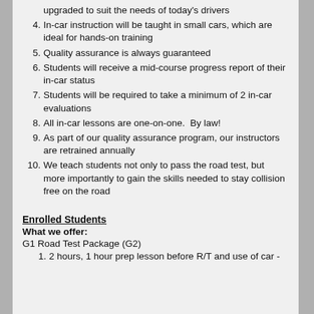upgraded to suit the needs of today's drivers
4. In-car instruction will be taught in small cars, which are ideal for hands-on training
5. Quality assurance is always guaranteed
6. Students will receive a mid-course progress report of their in-car status
7. Students will be required to take a minimum of 2 in-car evaluations
8. All in-car lessons are one-on-one.  By law!
9. As part of our quality assurance program, our instructors are retrained annually
10. We teach students not only to pass the road test, but more importantly to gain the skills needed to stay collision free on the road
Enrolled Students
What we offer:
G1 Road Test Package (G2)
1. 2 hours, 1 hour prep lesson before R/T and use of car -